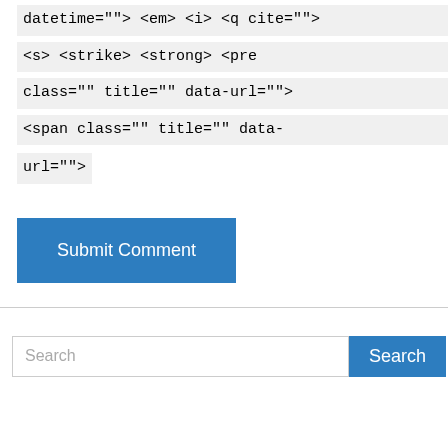datetime=""> <em> <i> <q cite=""> <s> <strike> <strong> <pre class="" title="" data-url=""> <span class="" title="" data-url="">
[Figure (other): Submit Comment button — a wide blue rectangular button with white text]
[Figure (other): Search bar with text input placeholder 'Search' and a blue Search button]